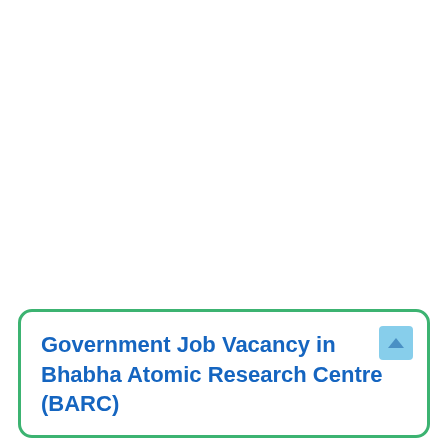Government Job Vacancy in Bhabha Atomic Research Centre (BARC)